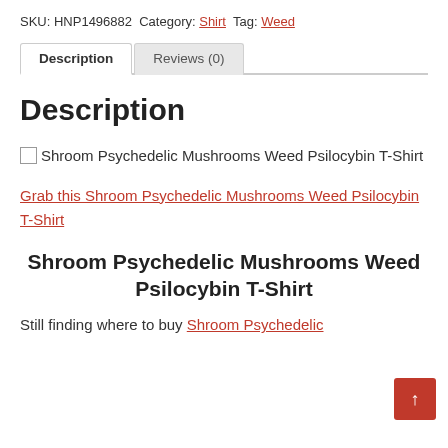SKU: HNP1496882 Category: Shirt Tag: Weed
Description | Reviews (0)
Description
Shroom Psychedelic Mushrooms Weed Psilocybin T-Shirt
Grab this Shroom Psychedelic Mushrooms Weed Psilocybin T-Shirt
Shroom Psychedelic Mushrooms Weed Psilocybin T-Shirt
Still finding where to buy Shroom Psychedelic